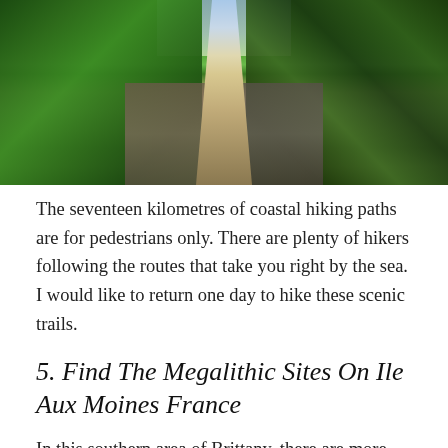[Figure (photo): A narrow coastal hiking path flanked by dense green vegetation and stone walls on both sides, leading toward a glimpse of blue sea in the distance under bright sunlight.]
The seventeen kilometres of coastal hiking paths are for pedestrians only. There are plenty of hikers following the routes that take you right by the sea. I would like to return one day to hike these scenic trails.
5. Find The Megalithic Sites On Ile Aux Moines France
In this southern area of Brittany, there are more than 550 megalithic sites. What a journey that